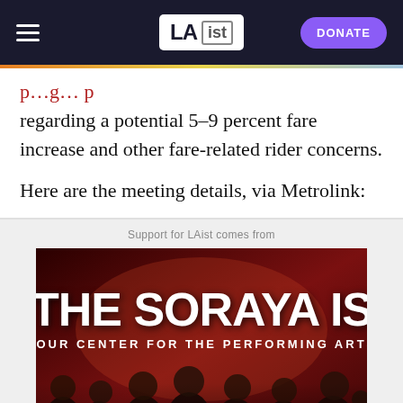LAist — DONATE
regarding a potential 5-9 percent fare increase and other fare-related rider concerns.
Here are the meeting details, via Metrolink:
Support for LAist comes from
[Figure (photo): Advertisement for The Soraya performing arts center showing performers with text 'THE SORAYA IS YOUR CENTER FOR THE PERFORMING ARTS' on a dark red background with a group of energetic performers in the foreground.]